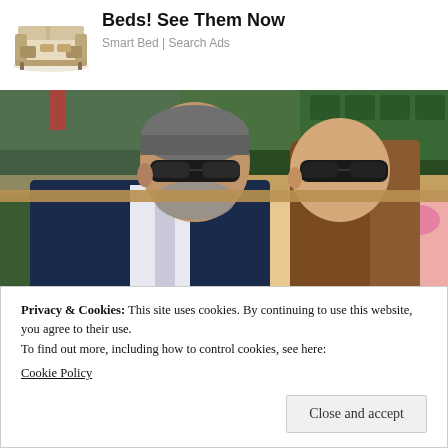[Figure (photo): Advertisement with image of a smart bed/sofa product on left and ad text on right]
Beds! See Them Now
Smart Bed | Search Ads
[Figure (photo): Two people sitting in green stadium seats at what appears to be Wimbledon. A man in a dark suit with sunglasses on the left, and a young woman with long brown hair and sunglasses on the right.]
Privacy & Cookies: This site uses cookies. By continuing to use this website, you agree to their use.
To find out more, including how to control cookies, see here:
Cookie Policy
Close and accept